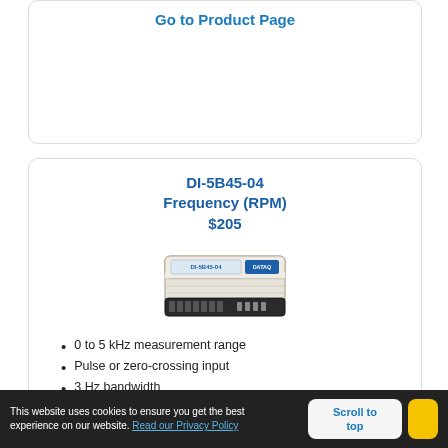Go to Product Page
DI-5B45-04
Frequency (RPM)
$205
[Figure (photo): Photo of DI-5B45-04 frequency input signal conditioning module — a small rectangular beige/white electronic module with black connector terminals on front]
0 to 5 kHz measurement range
Pulse or zero-crossing input
3 Hz bandwidth
5-V excitation output
Fully isolated
Go to Product Page
This website uses cookies to ensure you get the best experience on our website. Read our Privacy Policy